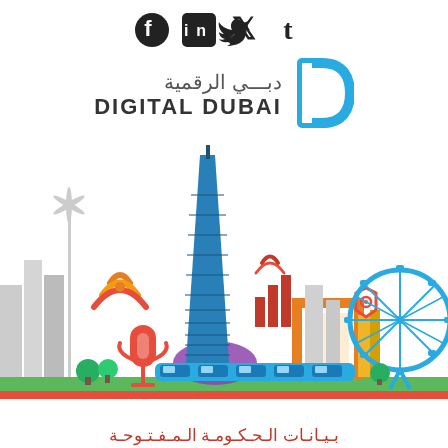[Figure (logo): Social media icons: Facebook, LinkedIn, Twitter, Tumblr]
[Figure (logo): Digital Dubai logo with Arabic text دبـي الرقمية and English text DIGITAL DUBAI with blue D lettermark]
[Figure (illustration): Colorful flat illustration of Dubai skyline featuring Burj Khalifa, Ferris wheel (Ain Dubai), metro train, buildings, wifi symbol, microphone, bar chart icon, orange frame, shield icon, trees, and a green ground strip]
بـيـانـات الـحـكـومـة الـمـفـتـوحـة